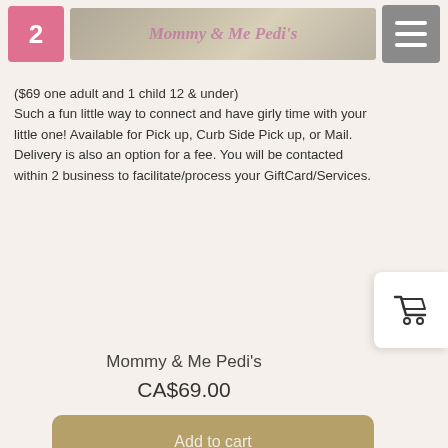Mommy & Me Pedi's - header banner with logo and menu button
($69 one adult and 1 child 12 & under)
Such a fun little way to connect and have girly time with your little one! Available for Pick up, Curb Side Pick up, or Mail. Delivery is also an option for a fee. You will be contacted within 2 business to facilitate/process your GiftCard/Services.
Mommy & Me Pedi's
CA$69.00
Add to cart
[Figure (photo): Two young girls posing with their chins resting on their hands, with Stylish You Hair Studio logo/oval badge in the center, pink chair background, framed with dark red border.]